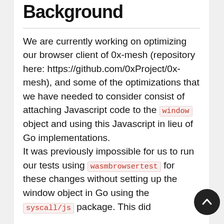Background
We are currently working on optimizing our browser client of 0x-mesh (repository here: https://github.com/0xProject/0x-mesh), and some of the optimizations that we have needed to consider consist of attaching Javascript code to the window object and using this Javascript in lieu of Go implementations.
It was previously impossible for us to run our tests using wasmbrowsertest for these changes without setting up the window object in Go using the syscall/js package. This did
[Figure (other): Scroll-to-top circular button with upward chevron icon, dark background]